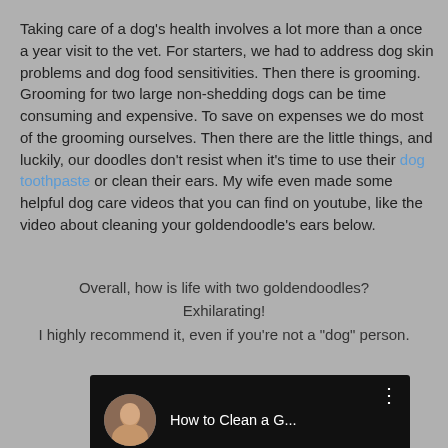Taking care of a dog's health involves a lot more than a once a year visit to the vet. For starters, we had to address dog skin problems and dog food sensitivities. Then there is grooming. Grooming for two large non-shedding dogs can be time consuming and expensive. To save on expenses we do most of the grooming ourselves. Then there are the little things, and luckily, our doodles don't resist when it's time to use their dog toothpaste or clean their ears. My wife even made some helpful dog care videos that you can find on youtube, like the video about cleaning your goldendoodle's ears below.
Overall, how is life with two goldendoodles? Exhilarating! I highly recommend it, even if you're not a "dog" person.
[Figure (screenshot): YouTube video thumbnail showing a woman's profile picture and the partial title 'How to Clean a G...' with a three-dot menu icon on a dark background.]